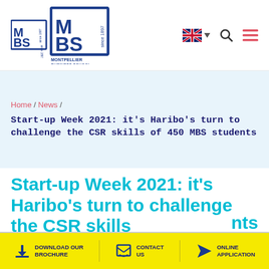[Figure (logo): Montpellier Business School logo — MBS block letters with 'since 1897' in a blue square border, with 'MONTPELLIER BUSINESS SCHOOL' below]
UK flag language selector, search icon, hamburger menu
Home / News /
Start-up Week 2021: it's Haribo's turn to challenge the CSR skills of 450 MBS students
Start-up Week 2021: it's Haribo's turn to challenge the CSR skills nts
DOWNLOAD OUR BROCHURE   CONTACT US   ONLINE APPLICATION